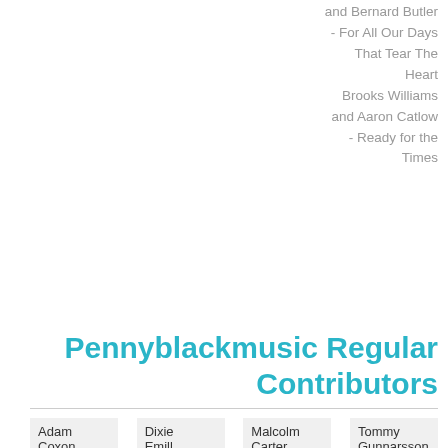and Bernard Butler - For All Our Days That Tear The Heart Brooks Williams and Aaron Catlow - Ready for the Times
Pennyblackmusic Regular Contributors
Adam Coxon | Dixie Emill | Malcolm Carter | Tommy Gunnarsson